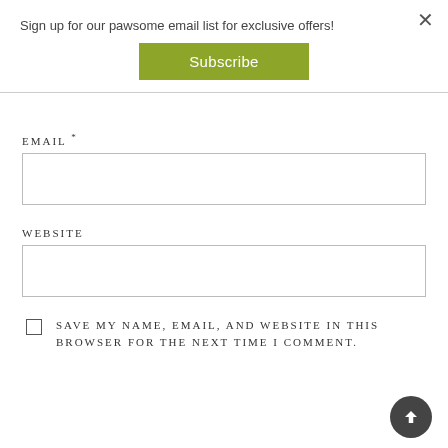Sign up for our pawsome email list for exclusive offers!
Subscribe
EMAIL *
WEBSITE
SAVE MY NAME, EMAIL, AND WEBSITE IN THIS BROWSER FOR THE NEXT TIME I COMMENT.